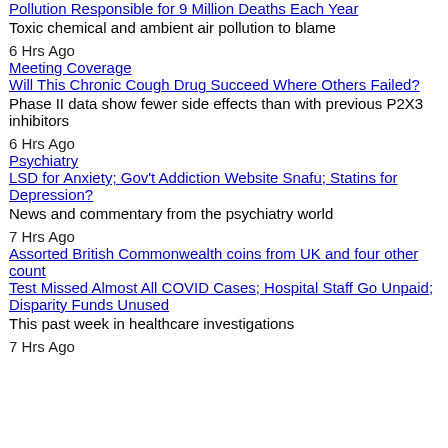Pollution Responsible for 9 Million Deaths Each Year
Toxic chemical and ambient air pollution to blame
6 Hrs Ago
Meeting Coverage
Will This Chronic Cough Drug Succeed Where Others Failed?
Phase II data show fewer side effects than with previous P2X3 inhibitors
6 Hrs Ago
Psychiatry
LSD for Anxiety; Gov't Addiction Website Snafu; Statins for Depression?
News and commentary from the psychiatry world
7 Hrs Ago
Assorted British Commonwealth coins from UK and four other count
Test Missed Almost All COVID Cases; Hospital Staff Go Unpaid; Disparity Funds Unused
This past week in healthcare investigations
7 Hrs Ago